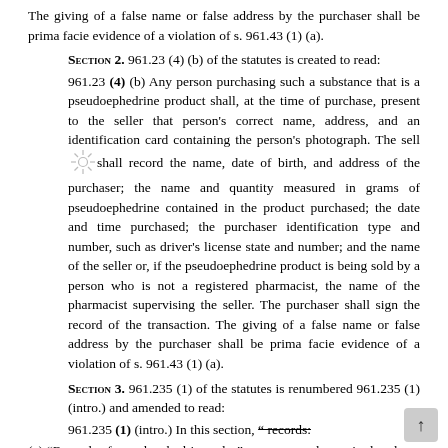The giving of a false name or false address by the purchaser shall be prima facie evidence of a violation of s. 961.43 (1) (a).
SECTION 2. 961.23 (4) (b) of the statutes is created to read:
961.23 (4) (b) Any person purchasing such a substance that is a pseudoephedrine product shall, at the time of purchase, present to the seller that person's correct name, address, and an identification card containing the person's photograph. The seller shall record the name, date of birth, and address of the purchaser; the name and quantity measured in grams of pseudoephedrine contained in the product purchased; the date and time purchased; the purchaser identification type and number, such as driver's license state and number; and the name of the seller or, if the pseudoephedrine product is being sold by a person who is not a registered pharmacist, the name of the pharmacist supervising the seller. The purchaser shall sign the record of the transaction. The giving of a false name or false address by the purchaser shall be prima facie evidence of a violation of s. 961.43 (1) (a).
SECTION 3. 961.235 (1) of the statutes is renumbered 961.235 (1) (intro.) and amended to read:
961.235 (1) (intro.) In this section, “ records:
(a) “Records of pseudoephedrine sales” means records required under s. 961.23 (4) (b) with respect to the sale of a pseudoephedrine product.
SECTION 4. 961.235 (1) (b) and (c) of the statutes are created to read:
to read: